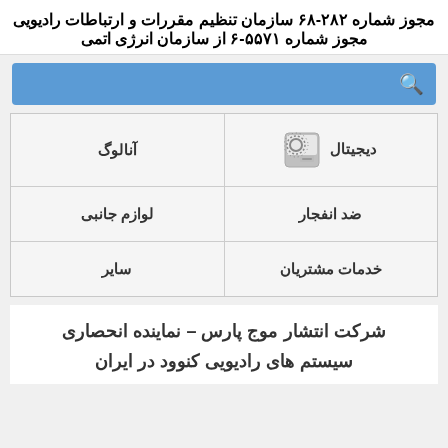مجوز شماره ۲۸۲-۶۸ سازمان تنظیم مقررات و ارتباطات رادیویی
مجوز شماره ۵۵۷۱-۶ از سازمان انرژی اتمی
| دیجیتال | آنالوگ |
| ضد انفجار | لوازم جانبی |
| خدمات مشتریان | سایر |
شرکت انتشار موج پارس – نماینده انحصاری سیستم های رادیویی کنوود در ایران